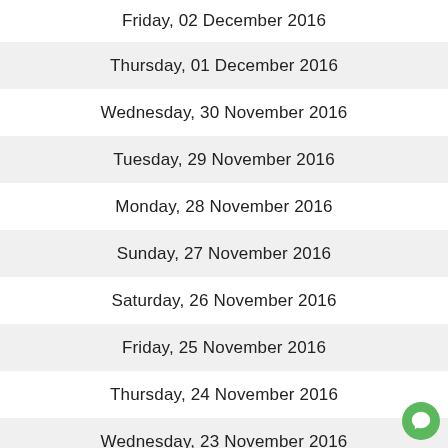Friday, 02 December 2016
Thursday, 01 December 2016
Wednesday, 30 November 2016
Tuesday, 29 November 2016
Monday, 28 November 2016
Sunday, 27 November 2016
Saturday, 26 November 2016
Friday, 25 November 2016
Thursday, 24 November 2016
Wednesday, 23 November 2016